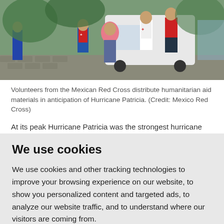[Figure (photo): Volunteers from the Mexican Red Cross distributing humanitarian aid materials outside, with a white vehicle in the background. People in red cross vests and uniforms are visible.]
Volunteers from the Mexican Red Cross distribute humanitarian aid materials in anticipation of Hurricane Patricia. (Credit: Mexico Red Cross)
At its peak Hurricane Patricia was the strongest hurricane
We use cookies
We use cookies and other tracking technologies to improve your browsing experience on our website, to show you personalized content and targeted ads, to analyze our website traffic, and to understand where our visitors are coming from.